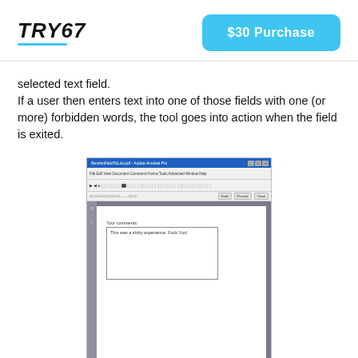TRY67 | $30 Purchase
selected text field.
If a user then enters text into one of those fields with one (or more) forbidden words, the tool goes into action when the field is exited.
[Figure (screenshot): Screenshot of Adobe Acrobat Pro with a PDF form open. A text field labeled 'Your comments:' contains the text 'This was a shitty experience. Fuck You!']